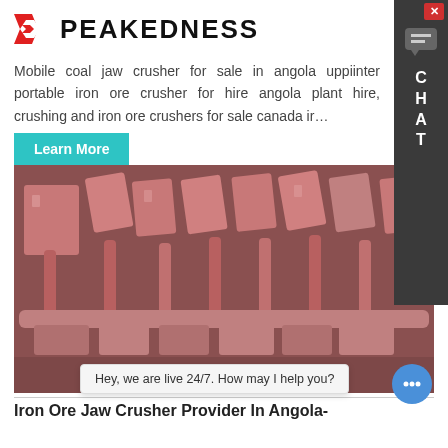PEAKEDNESS
Mobile coal jaw crusher for sale in angola uppiinter portable iron ore crusher for hire angola plant hire, crushing and iron ore crushers for sale canada ir...
Learn More
[Figure (photo): Photo of red/pink painted iron ore jaw crusher parts — multiple crushing teeth/plates stacked in rows, industrial mining equipment]
Hey, we are live 24/7. How may I help you?
Iron Ore Jaw Crusher Provider In Angola-